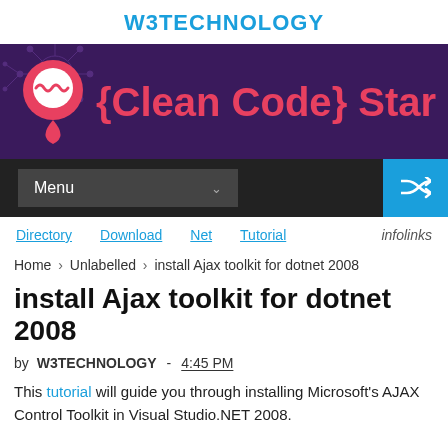W3TECHNOLOGY
[Figure (illustration): Banner with dark purple background, map pin logo, and '{Clean Code} Star' text in red on dark purple background]
[Figure (screenshot): Navigation bar with dark background, Menu dropdown, and blue shuffle/random button on right]
Directory   Download   Net   Tutorial   infolinks
Home > Unlabelled > install Ajax toolkit for dotnet 2008
install Ajax toolkit for dotnet 2008
by W3TECHNOLOGY - 4:45 PM
This tutorial will guide you through installing Microsoft's AJAX Control Toolkit in Visual Studio.NET 2008.